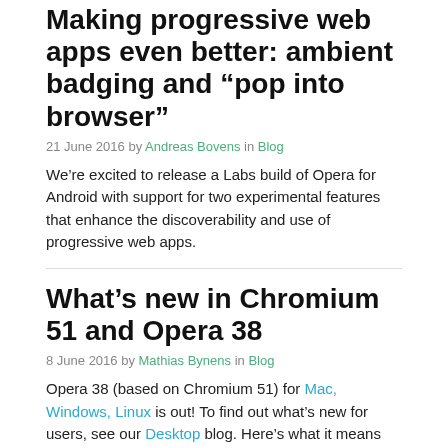Making progressive web apps even better: ambient badging and “pop into browser”
21 June 2016 by Andreas Bovens in Blog
We’re excited to release a Labs build of Opera for Android with support for two experimental features that enhance the discoverability and use of progressive web apps.
What’s new in Chromium 51 and Opera 38
8 June 2016 by Mathias Bynens in Blog
Opera 38 (based on Chromium 51) for Mac, Windows, Linux is out! To find out what’s new for users, see our Desktop blog. Here’s what it means for web developers.
What’s new in Chromium 50 and Opera 37
4 May 2016 by Mathias Bynens in Blog